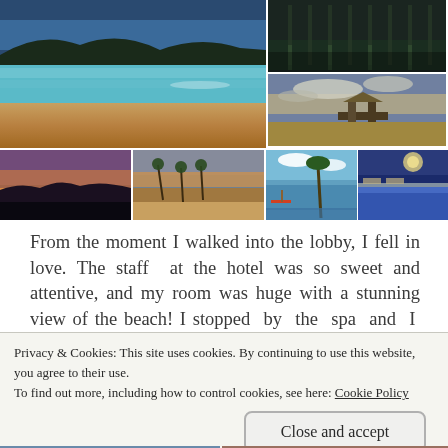[Figure (photo): Photo collage of a beach resort: large beach/sea photo top-left, hotel lobby top-right, sunset/pier middle-right, sunset landscape bottom-row 1, beach with palms bottom-row 2, tropical beach bottom-row 3, indoor pool bottom-row 4]
From the moment I walked into the lobby, I fell in love. The staff at the hotel was so sweet and attentive, and my room was huge with a stunning view of the beach! I stopped by the spa and I was shocked. It was so
Privacy & Cookies: This site uses cookies. By continuing to use this website, you agree to their use.
To find out more, including how to control cookies, see here: Cookie Policy
Close and accept
[Figure (photo): Two partial photos visible at bottom of page]